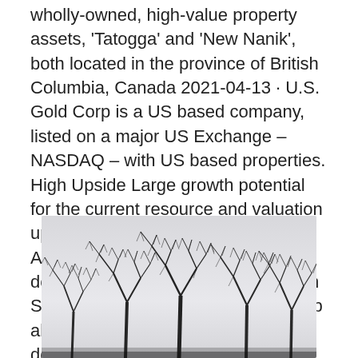wholly-owned, high-value property assets, 'Tatogga' and 'New Nanik', both located in the province of British Columbia, Canada 2021-04-13 · U.S. Gold Corp is a US based company, listed on a major US Exchange – NASDAQ – with US based properties. High Upside Large growth potential for the current resource and valuation upside based on market comps. Access and download the latest documents for TAC Gold Corporation Search within PDF documents. Setup alerts to get notified when latest documents get released.
[Figure (photo): Black and white photograph of bare winter trees with dark silhouetted branches against a light grey overcast sky.]